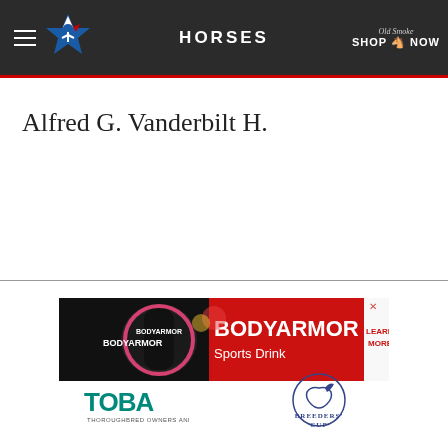HORSES
Alfred G. Vanderbilt H.
[Figure (infographic): BODYARMOR Sports Drink advertisement banner with strawberry banana flavor bottle and red background with 'LEARN MORE' text]
[Figure (logo): TOBA (Thoroughbred Owners and Breeders Association) logo]
[Figure (logo): Breeders' Cup logo with horse head illustration]